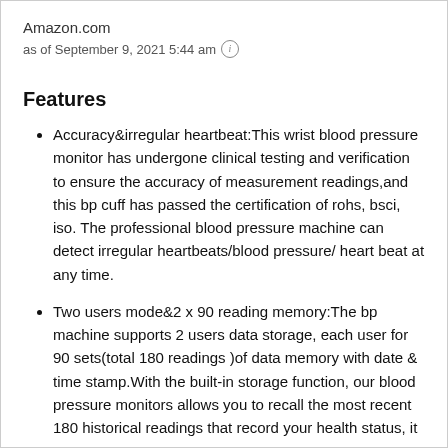Amazon.com
as of September 9, 2021 5:44 am (i)
Features
Accuracy&irregular heartbeat:This wrist blood pressure monitor has undergone clinical testing and verification to ensure the accuracy of measurement readings,and this bp cuff has passed the certification of rohs, bsci, iso. The professional blood pressure machine can detect irregular heartbeats/blood pressure/ heart beat at any time.
Two users mode&2 x 90 reading memory:The bp machine supports 2 users data storage, each user for 90 sets(total 180 readings )of data memory with date & time stamp.With the built-in storage function, our blood pressure monitors allows you to recall the most recent 180 historical readings that record your health status, it